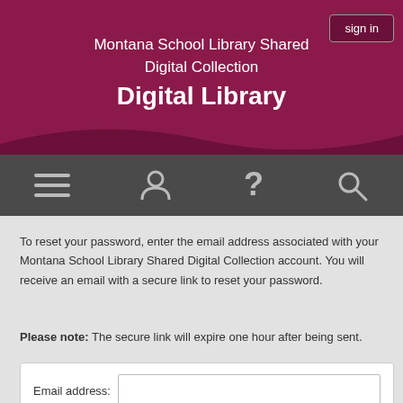[Figure (screenshot): Website header with maroon/dark pink background and wave shape at bottom]
Montana School Library Shared Digital Collection Digital Library
[Figure (infographic): Navigation bar with four icons: menu (hamburger), person/account, question mark, and search]
To reset your password, enter the email address associated with your Montana School Library Shared Digital Collection account. You will receive an email with a secure link to reset your password.
Please note: The secure link will expire one hour after being sent.
Email address: [input field]